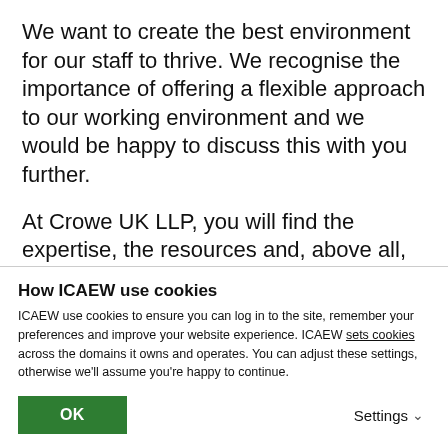We want to create the best environment for our staff to thrive. We recognise the importance of offering a flexible approach to our working environment and we would be happy to discuss this with you further.
At Crowe UK LLP, you will find the expertise, the resources and, above all, the commitment to help you build a satisfying and rewarding career. In return we can offer you continued career development, highly competitive salaries and flexible benefits. Plus an opportunity to work for a
How ICAEW use cookies
ICAEW use cookies to ensure you can log in to the site, remember your preferences and improve your website experience. ICAEW sets cookies across the domains it owns and operates. You can adjust these settings, otherwise we'll assume you're happy to continue.